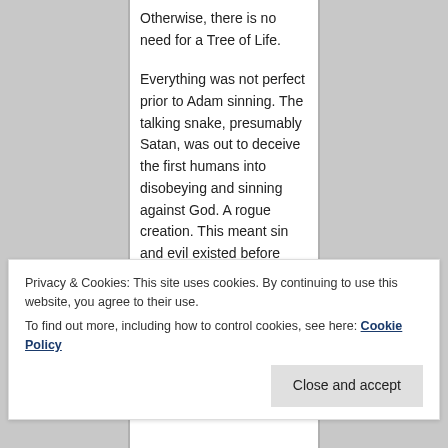Otherwise, there is no need for a Tree of Life.
Everything was not perfect prior to Adam sinning. The talking snake, presumably Satan, was out to deceive the first humans into disobeying and sinning against God. A rogue creation. This meant sin and evil existed before Adam ever came into being
The Old Testament talked about a gloomy underworld called Sheol
Privacy & Cookies: This site uses cookies. By continuing to use this website, you agree to their use.
To find out more, including how to control cookies, see here: Cookie Policy
Close and accept